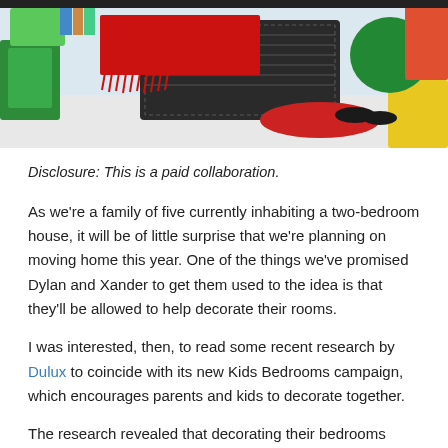[Figure (photo): Photo of a colorful children's bedroom scene with a black and white houndstooth patterned item, a red fringe blanket/throw, and colorful objects in the background including green, red, and yellow items.]
Disclosure: This is a paid collaboration.
As we're a family of five currently inhabiting a two-bedroom house, it will be of little surprise that we're planning on moving home this year. One of the things we've promised Dylan and Xander to get them used to the idea is that they'll be allowed to help decorate their rooms.
I was interested, then, to read some recent research by Dulux to coincide with its new Kids Bedrooms campaign, which encourages parents and kids to decorate together.
The research revealed that decorating their bedrooms